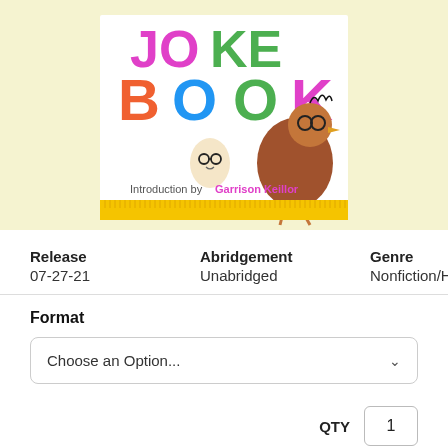[Figure (illustration): Book cover showing colorful text 'JOKE BOOK' with a chicken wearing glasses and an egg with glasses, with text 'Introduction by Garrison Keillor' on a yellow background, displayed against a pale yellow page background.]
| Release | Abridgement | Genre |
| --- | --- | --- |
| 07-27-21 | Unabridged | Nonfiction/Humor |
Format
Choose an Option...
QTY  1